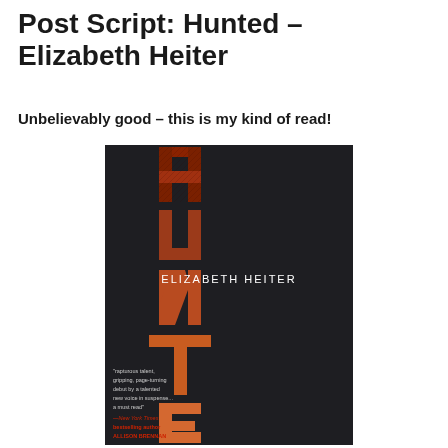Post Script: Hunted – Elizabeth Heiter
Unbelievably good – this is my kind of read!
[Figure (photo): Book cover of 'Hunted' by Elizabeth Heiter. Dark background with large vertical text 'HUNTED' filled with woodland/forest imagery in red and orange tones. Author name 'ELIZABETH HEITER' in white letters across the middle. Bottom left has a quote: 'rapturous talent, gripping, page-turning debut by a talented new voice in romantic... a must read' — New York Times bestselling author ALLISON BRENNAN.]